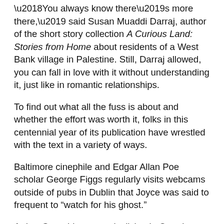'You always know there's more there,' said Susan Muaddi Darraj, author of the short story collection A Curious Land: Stories from Home about residents of a West Bank village in Palestine. Still, Darraj allowed, you can fall in love with it without understanding it, just like in romantic relationships.
To find out what all the fuss is about and whether the effort was worth it, folks in this centennial year of its publication have wrestled with the text in a variety of ways.
Baltimore cinephile and Edgar Allan Poe scholar George Figgs regularly visits webcams outside of pubs in Dublin that Joyce was said to frequent to “watch for his ghost.”
Arthur Greenblatt, an artist living in Ontario, Canada, has been listening to the book on his daily walk, from which he reports that when you hear the prose in the